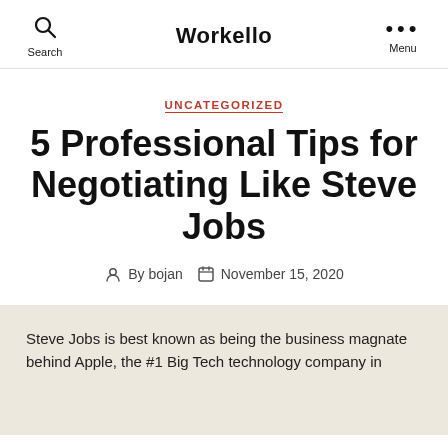Search | Workello | Menu
UNCATEGORIZED
5 Professional Tips for Negotiating Like Steve Jobs
By bojan   November 15, 2020
Steve Jobs is best known as being the business magnate behind Apple, the #1 Big Tech technology company in